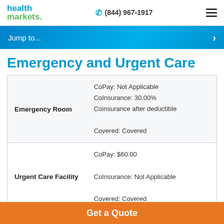health markets (844) 967-1917
Jump to...
Emergency and Urgent Care
|  |  |
| --- | --- |
| Emergency Room | CoPay: Not Applicable
CoInsurance: 30.00% Coinsurance after deductible
Covered: Covered |
| Urgent Care Facility | CoPay: $60.00
CoInsurance: Not Applicable
Covered: Covered |
Get a Quote